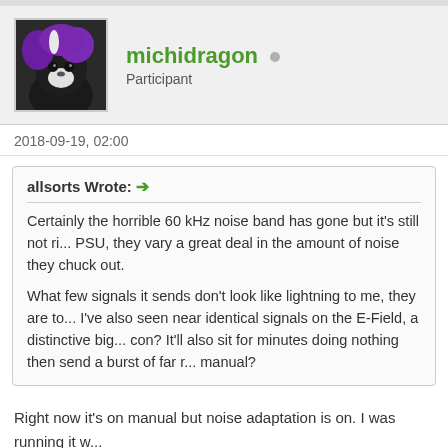[Figure (photo): User avatar showing a fursuit character with purple and black hair/fur]
michidragon • Participant
2018-09-19, 02:00
allsorts Wrote: → Certainly the horrible 60 kHz noise band has gone but it's still not ri... PSU, they vary a great deal in the amount of noise they chuck out.

What few signals it sends don't look like lightning to me, they are to... I've also seen near identical signals on the E-Field, a distinctive big... con? It'll also sit for minutes doing nothing then send a burst of far r... manual?
Right now it's on manual but noise adaptation is on. I was running it w...
There are air conditioners in the neighborhood for sure;  This weeken...